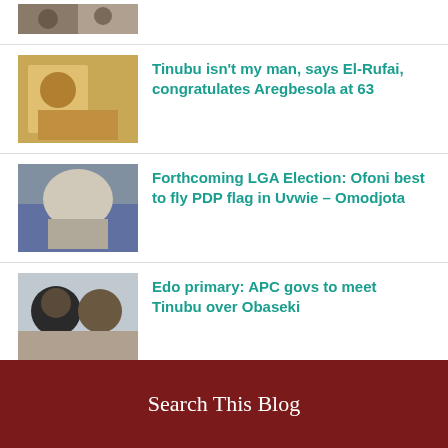[Figure (photo): Partially visible photo of two people at top of page]
Tinubu isn't my man, says El-Rufai, congratulates Aregbesola at 63
Forthcoming LGA Election: Ofoni best to fly PDP flag in Uvwie – Omodjota
Edo primary: APC govs to meet Tinubu over Obaseki
Score yourself on your three cardinal promises – PDP tasks Buhari
PREVIOUS
Search This Blog